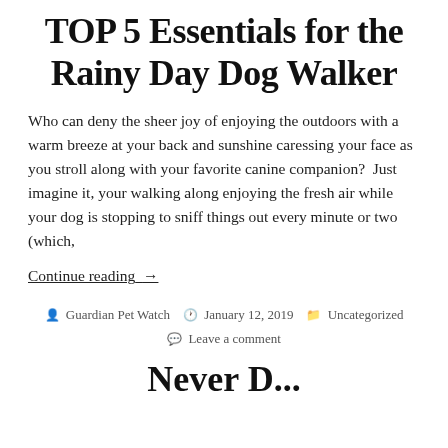TOP 5 Essentials for the Rainy Day Dog Walker
Who can deny the sheer joy of enjoying the outdoors with a warm breeze at your back and sunshine caressing your face as you stroll along with your favorite canine companion?  Just imagine it, your walking along enjoying the fresh air while your dog is stopping to sniff things out every minute or two (which,
Continue reading  →
By Guardian Pet Watch   January 12, 2019   Uncategorized
Leave a comment
Never D...